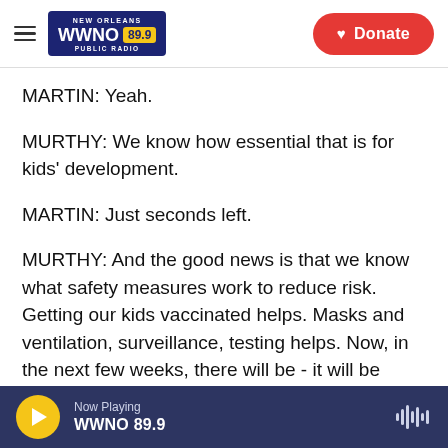WWNO 89.9 New Orleans Public Radio — Donate
MARTIN: Yeah.
MURTHY: We know how essential that is for kids' development.
MARTIN: Just seconds left.
MURTHY: And the good news is that we know what safety measures work to reduce risk. Getting our kids vaccinated helps. Masks and ventilation, surveillance, testing helps. Now, in the next few weeks, there will be - it will be challenging for some schools, given the rise in cases. We know some
Now Playing WWNO 89.9